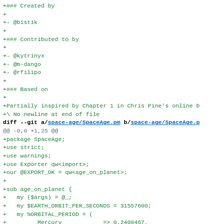diff --git code block showing git diff output with SpaceAge.pm file changes including package declaration, use strict, use warnings, use Exporter, @EXPORT_OK, sub age_on_planet with EARTH_ORBIT_PER_SECONDS and %ORBITAL_PERIOD hash entries for Mercury, Venus, Earth, Mars